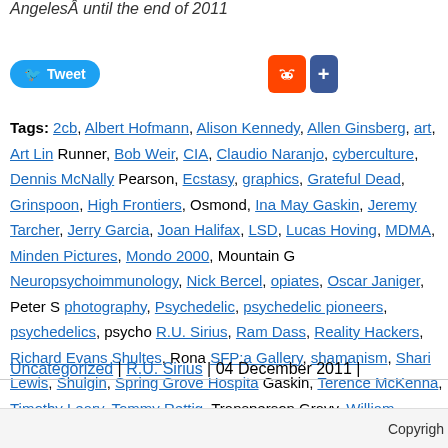AngelesÂ until the end of 2011
[Figure (other): Social sharing buttons: Tweet (Twitter), Reddit, and a plus/share button]
Tags: 2cb, Albert Hofmann, Alison Kennedy, Allen Ginsberg, art, Art Lin Runner, Bob Weir, CIA, Claudio Naranjo, cyberculture, Dennis McNally Pearson, Ecstasy, graphics, Grateful Dead, Grinspoon, High Frontiers, Osmond, Ina May Gaskin, Jeremy Tarcher, Jerry Garcia, Joan Halifax, LSD, Lucas Hoving, MDMA, Minden Pictures, Mondo 2000, Mountain G Neuropsychoimmunology, Nick Bercel, opiates, Oscar Janiger, Peter S photography, Psychedelic, psychedelic pioneers, psychedelics, psycho R.U. Sirius, Ram Dass, Reality Hackers, Richard Evans Shultes, Rona SFP:a Gallery, shamanism, Shari Lewis, Shulgin, Spring Grove Hospita Gaskin, Terence McKenna, Timothy Leary, Tommy Rettig, Transperson Gravy, William Burroughs, Yippie
Uncategorized | R.U. Sirius | 04 December 2011 |
Copyrigh